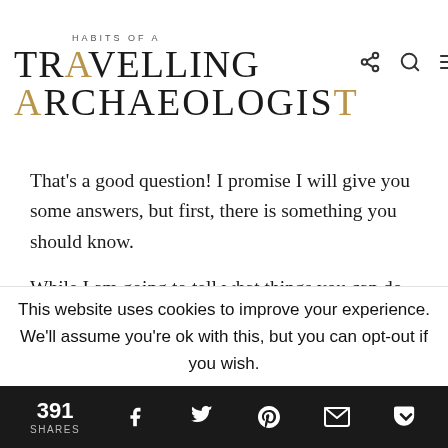HABITS OF A TRAVELLING ARCHAEOLOGIST
That's a good question! I promise I will give you some answers, but first, there is something you should know.
While I am going to tell what things you can do in your undergraduate years, I won't always be able to give you answers on how to execute each tip. Why? Each university, program, and group of
This website uses cookies to improve your experience. We'll assume you're ok with this, but you can opt-out if you wish.
391 SHARES